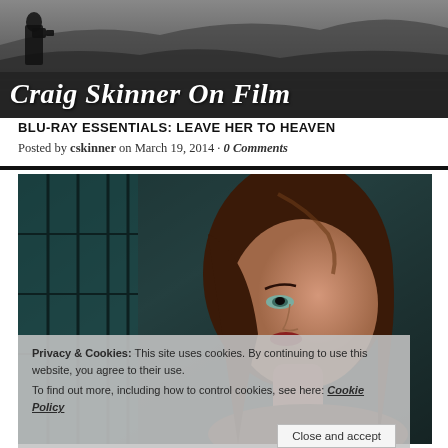[Figure (photo): Black and white banner photo showing a landscape with hills, fields, and a figure in the foreground, serving as a blog header background for 'Craig Skinner On Film']
Craig Skinner On Film
BLU-RAY ESSENTIALS: LEAVE HER TO HEAVEN
Posted by cskinner on March 19, 2014 · 0 Comments
[Figure (photo): Color film still from 'Leave Her to Heaven' showing a dark-haired woman looking upward, with teal/green blurred background elements]
Privacy & Cookies: This site uses cookies. By continuing to use this website, you agree to their use.
To find out more, including how to control cookies, see here: Cookie Policy
Close and accept